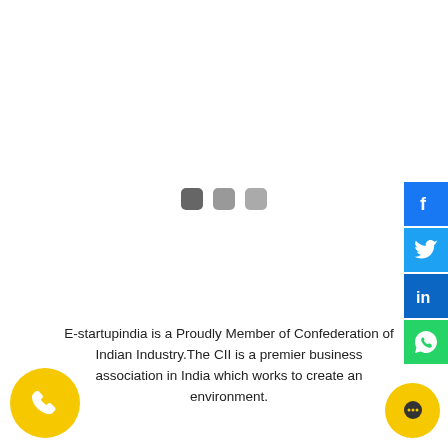[Figure (other): Three loading indicator dots (squares with rounded corners) in dark grey, medium grey, and light grey]
[Figure (other): Social media share buttons on the right side: Facebook (blue), Twitter (blue), LinkedIn (blue), WhatsApp (green)]
E-startupindia is a Proudly Member of Confederation of Indian Industry.The CII is a premier business association in India which works to create an environment.
[Figure (other): Yellow circular phone/call button in bottom-left corner]
[Figure (other): Yellow circular chat button in bottom-right corner]